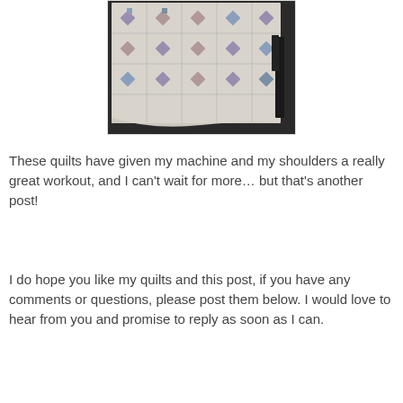[Figure (photo): A quilt with blue and purple flower/cross patchwork patterns on a white/cream background, displayed hanging or laid over a surface indoors.]
These quilts have given my machine and my shoulders a really great workout, and I can't wait for more… but that's another post!
I do hope you like my quilts and this post, if you have any comments or questions, please post them below. I would love to hear from you and promise to reply as soon as I can.